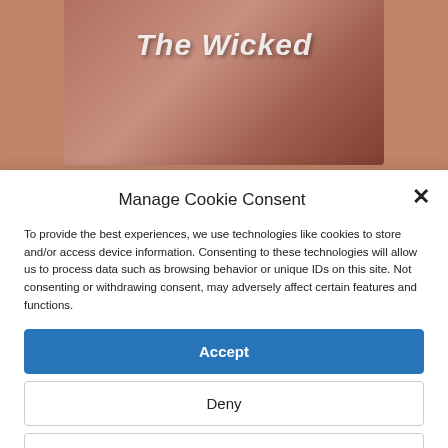[Figure (photo): Partially visible background image showing 'The Wicked' text over a pinkish/reddish background]
Manage Cookie Consent
To provide the best experiences, we use technologies like cookies to store and/or access device information. Consenting to these technologies will allow us to process data such as browsing behavior or unique IDs on this site. Not consenting or withdrawing consent, may adversely affect certain features and functions.
Accept
Deny
View preferences
Privacy Policy